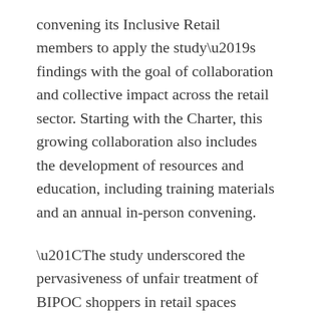convening its Inclusive Retail members to apply the study's findings with the goal of collaboration and collective impact across the retail sector. Starting with the Charter, this growing collaboration also includes the development of resources and education, including training materials and an annual in-person convening.
“The study underscored the pervasiveness of unfair treatment of BIPOC shoppers in retail spaces throughout this country,” said Calla Rongerude, director of Open to All. “We believe the retail industry should have a zero-tolerance discrimination policy. With the commitments from these companies, we can begin to address